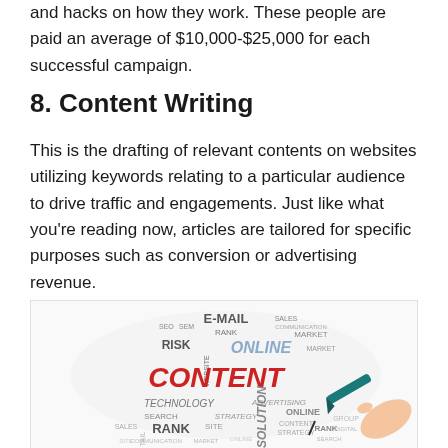and hacks on how they work. These people are paid an average of $10,000-$25,000 for each successful campaign.
8. Content Writing
This is the drafting of relevant contents on websites utilizing keywords relating to a particular audience to drive traffic and engagements. Just like what you’re reading now, articles are tailored for specific purposes such as conversion or advertising revenue.
[Figure (illustration): Word cloud image centered on the word CONTENT in large red text, surrounded by related digital marketing terms such as E-MAIL, RANK, ONLINE, RISK, COMMUNICATION, TECHNOLOGY, ADVERTISING, SEARCH, STRATEGY, SOLUTION, RANK, MARKET, SITE, SALES, SEO, SEM, WEBSITE, GROUP, DIGITAL, with a hand holding a marker pen on the right side.]